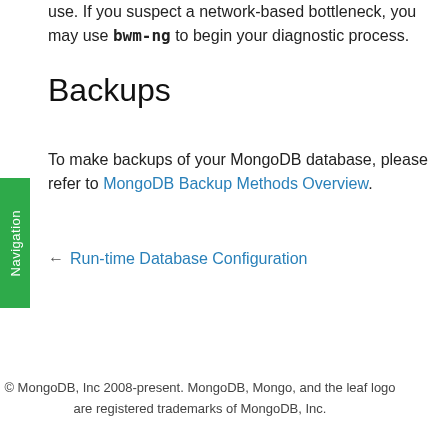use. If you suspect a network-based bottleneck, you may use bwm-ng to begin your diagnostic process.
Backups
To make backups of your MongoDB database, please refer to MongoDB Backup Methods Overview.
← Run-time Database Configuration
© MongoDB, Inc 2008-present. MongoDB, Mongo, and the leaf logo are registered trademarks of MongoDB, Inc.